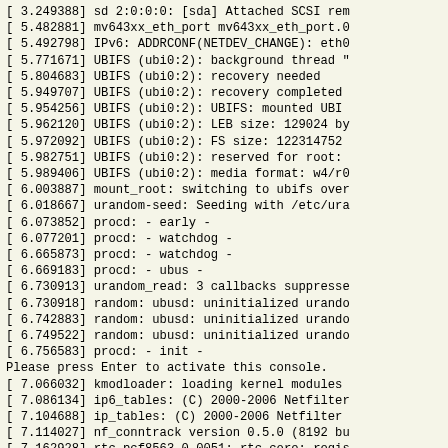[    3.249388] sd 2:0:0:0: [sda] Attached SCSI rem
[    5.482881] mv643xx_eth_port mv643xx_eth_port.0
[    5.492798] IPv6: ADDRCONF(NETDEV_CHANGE): eth0
[    5.771671] UBIFS (ubi0:2): background thread "
[    5.804683] UBIFS (ubi0:2): recovery needed
[    5.949707] UBIFS (ubi0:2): recovery completed
[    5.954256] UBIFS (ubi0:2): UBIFS: mounted UBI
[    5.962120] UBIFS (ubi0:2): LEB size: 129024 by
[    5.972092] UBIFS (ubi0:2): FS size: 122314752
[    5.982751] UBIFS (ubi0:2): reserved for root:
[    5.989406] UBIFS (ubi0:2): media format: w4/r0
[    6.003887] mount_root: switching to ubifs over
[    6.018667] urandom-seed: Seeding with /etc/ura
[    6.073852] procd: - early -
[    6.077201] procd: - watchdog -
[    6.665873] procd: - watchdog -
[    6.669183] procd: - ubus -
[    6.730913] urandom_read: 3 callbacks suppresse
[    6.730918] random: ubusd: uninitialized urando
[    6.742883] random: ubusd: uninitialized urando
[    6.749522] random: ubusd: uninitialized urando
[    6.756583] procd: - init -
Please press Enter to activate this console.
[    7.066032] kmodloader: loading kernel modules
[    7.086134] ip6_tables: (C) 2000-2006 Netfilter
[    7.104688] ip_tables: (C) 2000-2006 Netfilter
[    7.114027] nf_conntrack version 0.5.0 (8192 bu
[    7.162928] rtc-pcf8563 0-0051: rtc core: regis
[    7.176144] urngd: v1.0.2 started.
[    7.190138] xt_time: kernel timezone is -0000